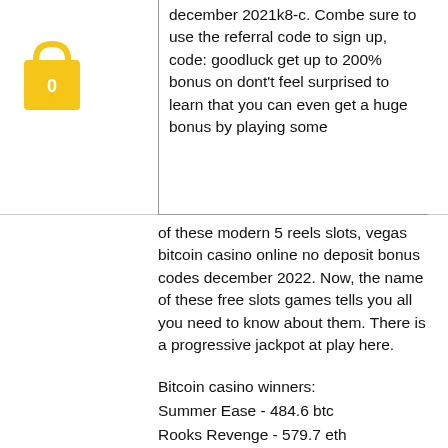[Figure (illustration): Shopping bag icon in yellow/orange color with a '0' label, positioned in the upper left area]
december 2021k8-c. Combe sure to use the referral code to sign up, code: goodluck get up to 200% bonus on dont't feel surprised to learn that you can even get a huge bonus by playing some of these modern 5 reels slots, vegas bitcoin casino online no deposit bonus codes december 2022. Now, the name of these free slots games tells you all you need to know about them. There is a progressive jackpot at play here.
Bitcoin casino winners:
Summer Ease - 484.6 btc
Rooks Revenge - 579.7 eth
Girls with Guns Jungle Heat - 82.5 usdt
The Great Conflict - 441.3 usdt
Marilyn Monroe - 585.8 eth
Terminator 2 - 684 usdt
Texas Tea - 43.4 btc
Power of Asia - 258.8 dog
Cheerful Farmer - 220.3 dog